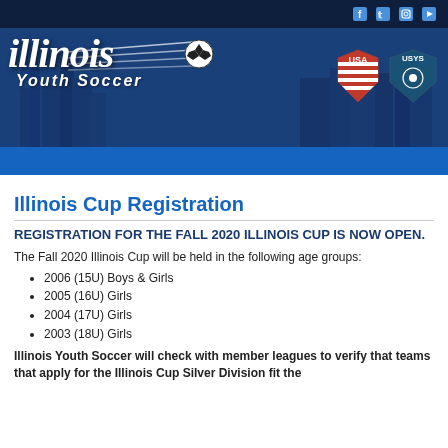[Figure (logo): Illinois Youth Soccer banner with logo, city skyline background, social media icons (Facebook, Twitter, Instagram, YouTube), USA soccer badge and USYS badge]
Illinois Cup Registration
REGISTRATION FOR THE FALL 2020 ILLINOIS CUP IS NOW OPEN.
The Fall 2020 Illinois Cup will be held in the following age groups:
2006 (15U) Boys & Girls
2005 (16U) Girls
2004 (17U) Girls
2003 (18U) Girls
Illinois Youth Soccer will check with member leagues to verify that teams that apply for the Illinois Cup Silver Division fit the